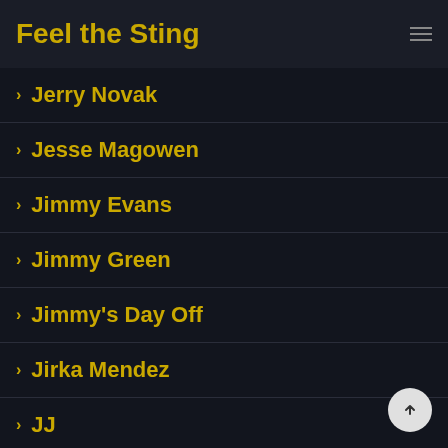Feel the Sting
Jerry Novak
Jesse Magowen
Jimmy Evans
Jimmy Green
Jimmy's Day Off
Jirka Mendez
JJ
Joel Cooper
Joel Vargas
Joey Whyte
Johan Volny
Johannes Lars